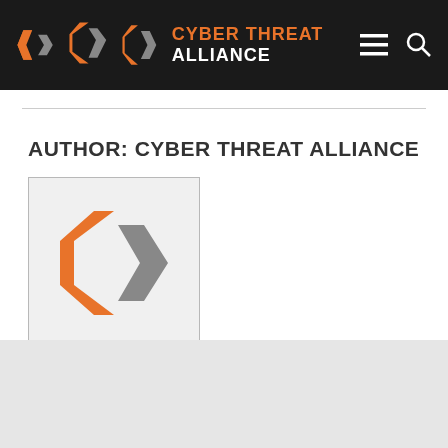[Figure (logo): Cyber Threat Alliance logo and navigation header bar with orange and gray diamond logo, orange 'CYBER THREAT' and white 'ALLIANCE' text, hamburger menu icon, and search icon on black background]
AUTHOR: CYBER THREAT ALLIANCE
[Figure (logo): Cyber Threat Alliance logo image: orange left-pointing chevron and gray right-pointing chevron forming a diamond shape on light gray background]